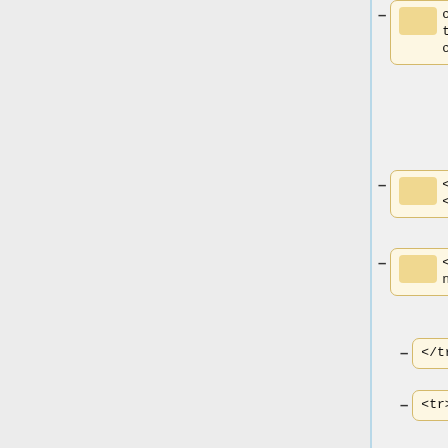copyright and the owner of the copyright.</td>
<td>&nbsp;</td>
<td>Continuation</td>
</tr>
<tr>
<td>CopyrightHolder</td>
<td>&lt;string&gt;<br/>
Contains the